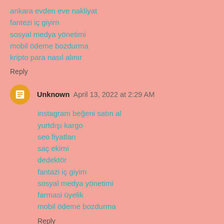ankara evden eve nakliyat
fantezi iç giyim
sosyal medya yönetimi
mobil ödeme bozdurma
kripto para nasıl alınır
Reply
Unknown  April 13, 2022 at 2:29 AM
instagram beğeni satın al
yurtdışı kargo
seo fiyatları
saç ekimi
dedektör
fantazi iç giyim
sosyal medya yönetimi
farmasi üyelik
mobil ödeme bozdurma
Reply